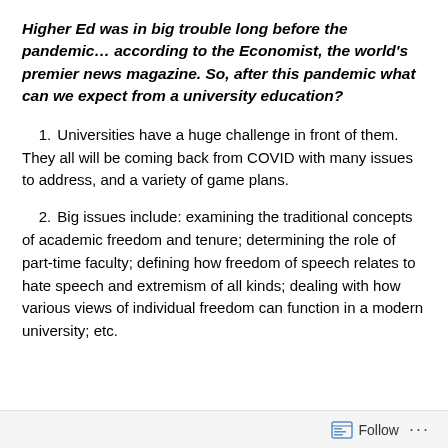Higher Ed was in big trouble long before the pandemic… according to the Economist, the world's premier news magazine. So, after this pandemic what can we expect from a university education?
1. Universities have a huge challenge in front of them. They all will be coming back from COVID with many issues to address, and a variety of game plans.
2. Big issues include: examining the traditional concepts of academic freedom and tenure; determining the role of part-time faculty; defining how freedom of speech relates to hate speech and extremism of all kinds; dealing with how various views of individual freedom can function in a modern university; etc.
Follow